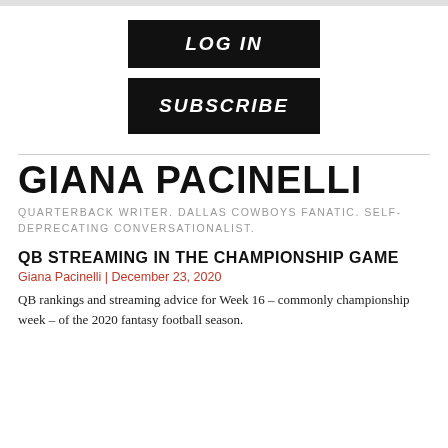[Figure (other): Top gray bar / header image strip]
LOG IN
SUBSCRIBE
GIANA PACINELLI
QUARTERBACK WRITER. DALLAS COWBOYS FANATIC. SELF-DEPRECATING CONVERSATIONALIST.
QB STREAMING IN THE CHAMPIONSHIP GAME
Giana Pacinelli | December 23, 2020
QB rankings and streaming advice for Week 16 – commonly championship week – of the 2020 fantasy football season.